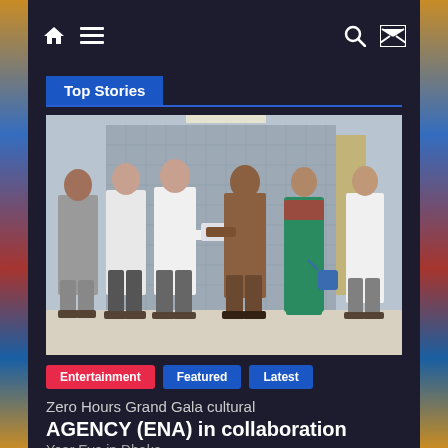Navigation bar with home, menu, search, and shuffle icons
Top Stories
[Figure (photo): Six people standing in a formal office lobby setting, two men in the center exchanging documents. From left: man in grey suit, man in white shirt and grey pants, man in white shirt center, man in brown suit receiving/giving document, woman in green traditional dress with red scarf, young man in white shirt on right.]
Entertainment
Featured
Latest
Zero Hours Grand Gala cultural AGENCY (ENA) in collaboration Year Eve in Dhaka